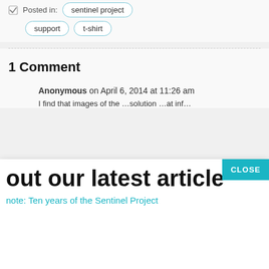Posted in: sentinel project
support   t-shirt
1 Comment
Anonymous on April 6, 2014 at 11:26 am
[Figure (screenshot): Popup overlay with close button, headline 'out our latest article', and link 'note: Ten years of the Sentinel Project']
Reply